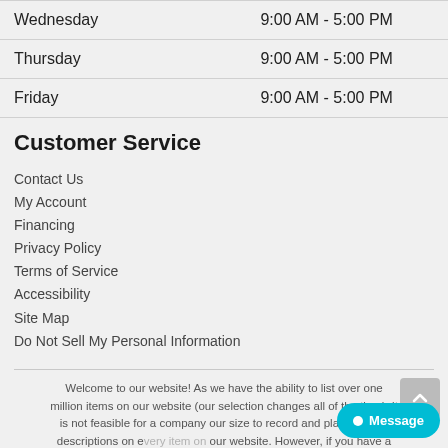| Day | Hours |
| --- | --- |
| Wednesday | 9:00 AM - 5:00 PM |
| Thursday | 9:00 AM - 5:00 PM |
| Friday | 9:00 AM - 5:00 PM |
Customer Service
Contact Us
My Account
Financing
Privacy Policy
Terms of Service
Accessibility
Site Map
Do Not Sell My Personal Information
Welcome to our website! As we have the ability to list over one million items on our website (our selection changes all of the time), it is not feasible for a company our size to record and playback the descriptions on every item on our website. However, if you have a disability we are here to help you. Please call our disability services phone line at (937) 548-3174 during